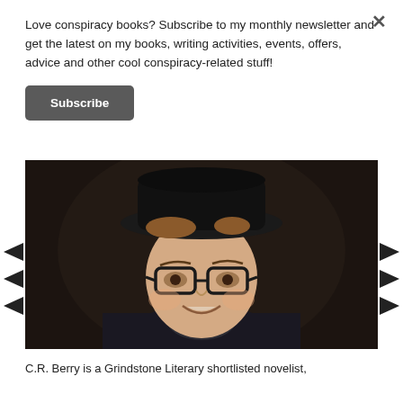Love conspiracy books? Subscribe to my monthly newsletter and get the latest on my books, writing activities, events, offers, advice and other cool conspiracy-related stuff!
Subscribe
[Figure (photo): Portrait photograph of a young man wearing a black hat and glasses, smiling, against a dark background, wearing a dark blazer and patterned shirt.]
C.R. Berry is a Grindstone Literary shortlisted novelist,